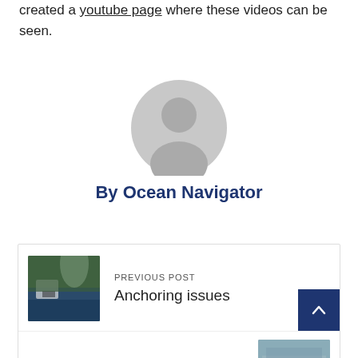created a youtube page where these videos can be seen.
[Figure (illustration): Generic user avatar placeholder — grey circle with a person silhouette]
By Ocean Navigator
PREVIOUS POST
[Figure (photo): A boat near a waterfall with forested cliffs]
Anchoring issues
NEXT POST
[Figure (photo): Aerial view of a coastal town or harbor]